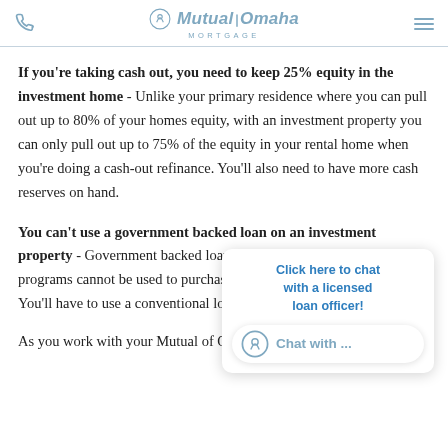Mutual of Omaha Mortgage
If you're taking cash out, you need to keep 25% equity in the investment home - Unlike your primary residence where you can pull out up to 80% of your homes equity, with an investment property you can only pull out up to 75% of the equity in your rental home when you're doing a cash-out refinance. You'll also need to have more cash reserves on hand.
You can't use a government backed loan on an investment property - Government backed loans, like VA, USDA and FHA loan programs cannot be used to purchase or refinance a rental property. You'll have to use a conventional loan to refinance.
As you work with your Mutual of Omaha Mortgage loan